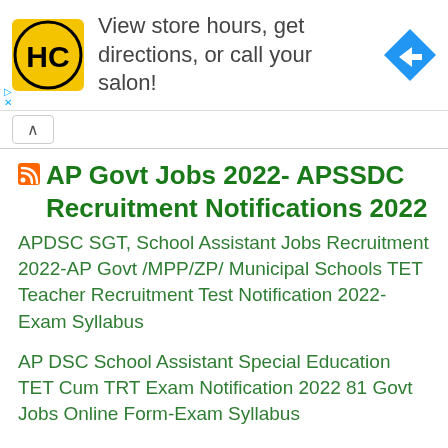[Figure (screenshot): Advertisement banner with HC logo, text 'View store hours, get directions, or call your salon!' and a blue navigation arrow icon]
AP Govt Jobs 2022- APSSDC Recruitment Notifications 2022
APDSC SGT, School Assistant Jobs Recruitment 2022-AP Govt /MPP/ZP/ Municipal Schools TET Teacher Recruitment Test Notification 2022-Exam Syllabus
AP DSC School Assistant Special Education TET Cum TRT Exam Notification 2022 81 Govt Jobs Online Form-Exam Syllabus
APDSC PGT, TGT Jobs Recruitment 2022-AP Model Schools, BC Welfare Society Teacher Recruitment Test